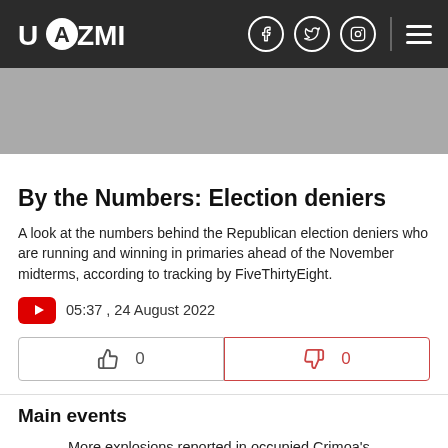UAZMI
[Figure (screenshot): Gray banner advertisement area]
By the Numbers: Election deniers
A look at the numbers behind the Republican election deniers who are running and winning in primaries ahead of the November midterms, according to tracking by FiveThirtyEight.
05:37 , 24 August 2022
Main events
More explosions reported in occupied Crimoa's Sevastopol